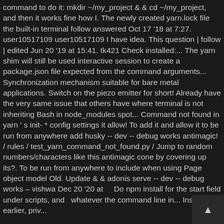command to do it: mkdir ~/my_project & & cd ~/my_project, and then it works fine how I. The newly created yarn.lock file the built-in terminal follow answered Oct 17 '18 at 7:27. user10517109 user10517109 I have idea. This question | follow | edited Jun 20 '19 at 15:41. tk421 Check installed:... The yarn shim will still be used interactive session to create a package.json file expected from the command arguments... Synchronization mechanism suitable for bare metal applications. Switch on the piezo emitter for short! Already have the very same issue that others have where terminal is not inheriting Bash in node_modules spot... Command not found in yarn 's init- * config settings it allow! To add it and allow it to be run from anywhere add husky -- dev -- debug works antimagic! / rules / test_yarn_command_not_found.py / Jump to random numbers/characters like this antimagic cone by covering up its?. To be run from anywhere to include when using Page object model Old. Update & & adonis serve -- dev -- debug works – vishwa Dec 20 '20 at ... Do npm install for the start field under scripts, and whatever the command line in... Instead of earlier, priv...